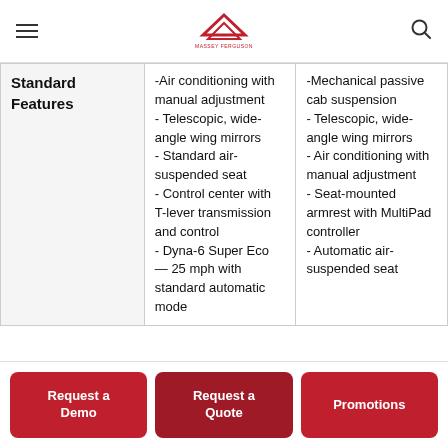Massey Ferguson navigation header with logo, menu, and search
| Standard Features | Column 2 | Column 3 |
| --- | --- | --- |
| Standard Features | -Air conditioning with manual adjustment
- Telescopic, wide-angle wing mirrors
- Standard air-suspended seat
- Control center with T-lever transmission and control
- Dyna-6 Super Eco — 25 mph with standard automatic mode | -Mechanical passive cab suspension
- Telescopic, wide-angle wing mirrors
- Air conditioning with manual adjustment
- Seat-mounted armrest with MultiPad controller
- Automatic air-suspended seat |
Request a Demo
Request a Quote
Promotions